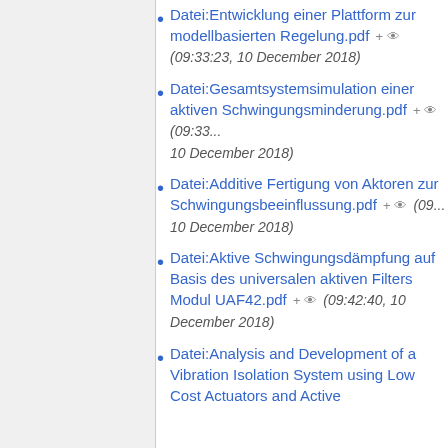Datei:Entwicklung einer Plattform zur modellbasierten Regelung.pdf + (09:33:23, 10 December 2018)
Datei:Gesamtsystemsimulation einer aktiven Schwingungsminderung.pdf + (09:33... 10 December 2018)
Datei:Additive Fertigung von Aktoren zur Schwingungsbeeinflussung.pdf + (09... 10 December 2018)
Datei:Aktive Schwingungsdämpfung auf Basis des universalen aktiven Filters Modul UAF42.pdf + (09:42:40, 10 December 2018)
Datei:Analysis and Development of a Vibration Isolation System using Low Cost Actuators and Active